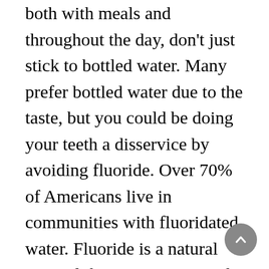both with meals and throughout the day, don't just stick to bottled water. Many prefer bottled water due to the taste, but you could be doing your teeth a disservice by avoiding fluoride. Over 70% of Americans live in communities with fluoridated water. Fluoride is a natural mineral that can prevent and even reverse tooth decay, and is also found as an active ingredient in toothpastes and mouthwashes (though obviously in much larger concentrations than in tap water). But filtered bottled water